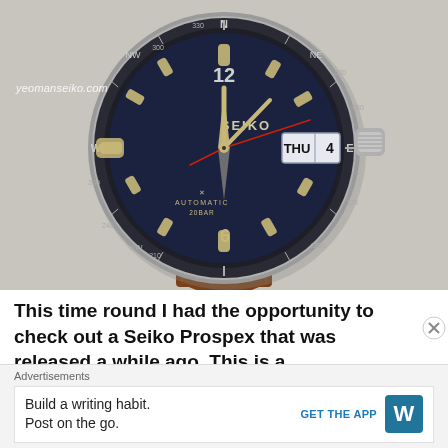[Figure (photo): Close-up photograph of a Seiko Prospex automatic watch with navy blue dial, compass bezel showing N/NE/E/SE/S/SW/W/NW directions, day-date window showing THU 4, AUTOMATIC 20BAR text on dial, luminous hour markers and hands, brown leather strap, on light textured background. Watermark 'yeomanseiko.com' in lower left.]
This time round I had the opportunity to check out a Seiko Prospex that was released a while ago. This is a
Advertisements
Build a writing habit.
Post on the go.
GET THE APP